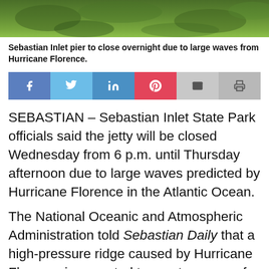[Figure (photo): Top strip of green grass/vegetation photo, partially cropped]
Sebastian Inlet pier to close overnight due to large waves from Hurricane Florence.
[Figure (infographic): Social share bar with Facebook, Twitter, LinkedIn, Pinterest, Email, and Print buttons]
SEBASTIAN – Sebastian Inlet State Park officials said the jetty will be closed Wednesday from 6 p.m. until Thursday afternoon due to large waves predicted by Hurricane Florence in the Atlantic Ocean.
The National Oceanic and Atmospheric Administration told Sebastian Daily that a high-pressure ridge caused by Hurricane Florence is expected to create waves of up to 12 feet at the Inlet during the overnight hours.